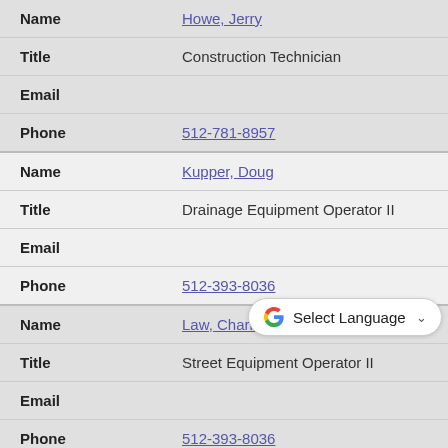| Field | Value |
| --- | --- |
| Name | Howe, Jerry |
| Title | Construction Technician |
| Email |  |
| Phone | 512-781-8957 |
| Name | Kupper, Doug |
| Title | Drainage Equipment Operator II |
| Email |  |
| Phone | 512-393-8036 |
| Name | Law, Charles |
| Title | Street Equipment Operator II |
| Email |  |
| Phone | 512-393-8036 |
| Name | Luna, Ernest |